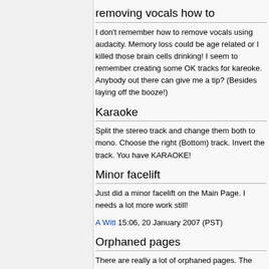removing vocals how to
I don't remember how to remove vocals using audacity. Memory loss could be age related or I killed those brain cells drinking! I seem to remember creating some OK tracks for kareoke. Anybody out there can give me a tip? (Besides laying off the booze!)
Karaoke
Split the stereo track and change them both to mono. Choose the right (Bottom) track. Invert the track. You have KARAOKE!
Minor facelift
Just did a minor facelift on the Main Page. I needs a lot more work still!
A Witt 15:06, 20 January 2007 (PST)
Orphaned pages
There are really a lot of orphaned pages. The